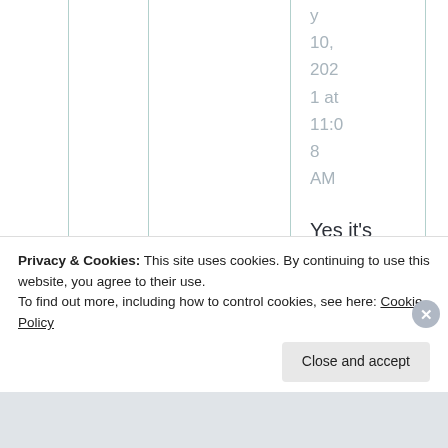y 10, 2021 at 11:08 AM
Yes it's possible bot yes of course you
Privacy & Cookies: This site uses cookies. By continuing to use this website, you agree to their use.
To find out more, including how to control cookies, see here: Cookie Policy
Close and accept